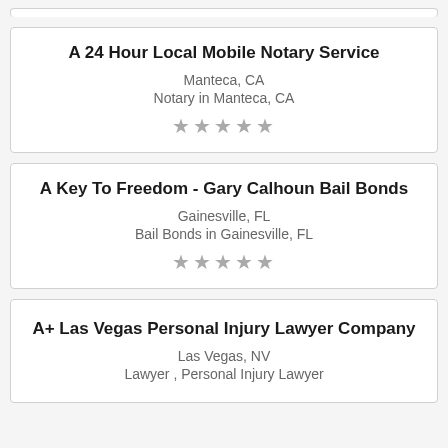A 24 Hour Local Mobile Notary Service
Manteca, CA
Notary in Manteca, CA
A Key To Freedom - Gary Calhoun Bail Bonds
Gainesville, FL
Bail Bonds in Gainesville, FL
A+ Las Vegas Personal Injury Lawyer Company
Las Vegas, NV
Lawyer , Personal Injury Lawyer